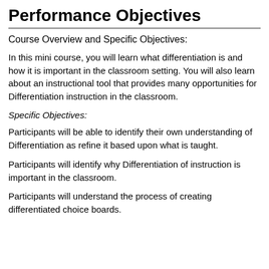Performance Objectives
Course Overview and Specific Objectives:
In this mini course, you will learn what differentiation is and how it is important in the classroom setting. You will also learn about an instructional tool that provides many opportunities for Differentiation instruction in the classroom.
Specific Objectives:
Participants will be able to identify their own understanding of Differentiation as refine it based upon what is taught.
Participants will identify why Differentiation of instruction is important in the classroom.
Participants will understand the process of creating differentiated choice boards.